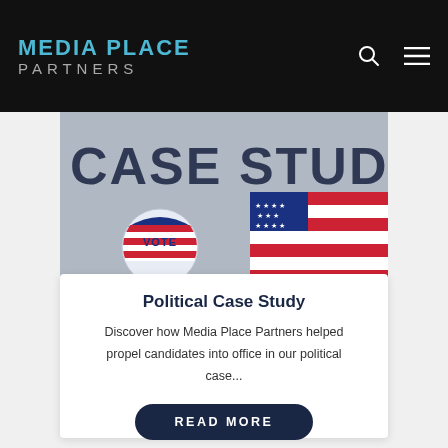MEDIA PLACE PARTNERS
[Figure (photo): Partially visible banner image showing a 'VOTE' sticker button and an American flag, with large text 'CASE STUDY' overlaid]
Political Case Study
Discover how Media Place Partners helped propel candidates into office in our political case...
READ MORE